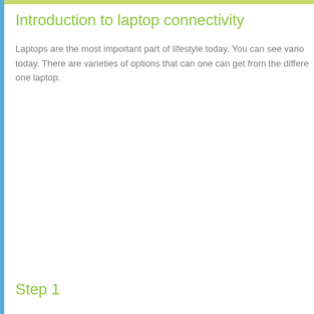Introduction to laptop connectivity
Laptops are the most important part of lifestyle today. You can see various today. There are varieties of options that can one can get from the different one laptop.
Step 1